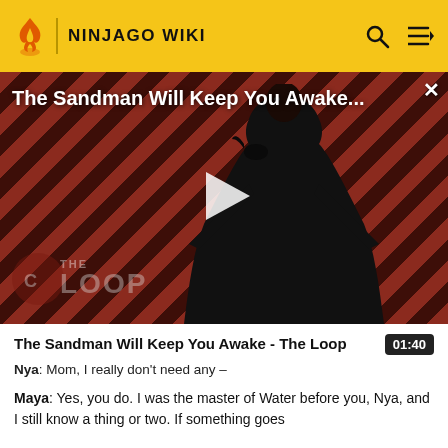NINJAGO WIKI
[Figure (screenshot): Video thumbnail for 'The Sandman Will Keep You Awake - The Loop' showing a dark-robed figure against a diagonal red and dark stripe background with a play button overlay and 'THE LOOP' watermark]
The Sandman Will Keep You Awake - The Loop
Nya: Mom, I really don't need any –
Maya: Yes, you do. I was the master of Water before you, Nya, and I still know a thing or two. If something goes